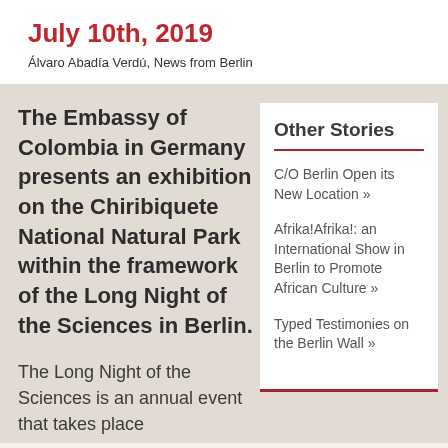July 10th, 2019
Álvaro Abadía Verdú, News from Berlin
The Embassy of Colombia in Germany presents an exhibition on the Chiribiquete National Natural Park within the framework of the Long Night of the Sciences in Berlin.
The Long Night of the Sciences is an annual event that takes place
Other Stories
C/O Berlin Open its New Location »
Afrika!Afrika!: an International Show in Berlin to Promote African Culture »
Typed Testimonies on the Berlin Wall »